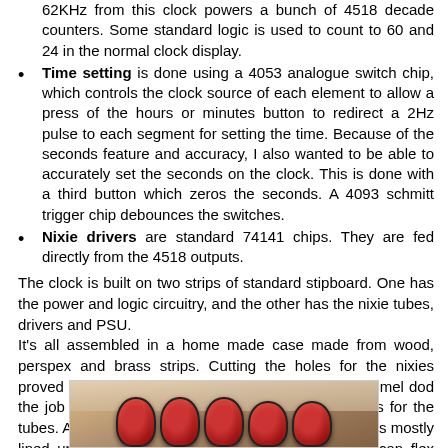62KHz from this clock powers a bunch of 4518 decade counters. Some standard logic is used to count to 60 and 24 in the normal clock display.
Time setting is done using a 4053 analogue switch chip, which controls the clock source of each element to allow a press of the hours or minutes button to redirect a 2Hz pulse to each segment for setting the time. Because of the seconds feature and accuracy, I also wanted to be able to accurately set the seconds on the clock. This is done with a third button which zeros the seconds. A 4093 schmitt trigger chip debounces the switches.
Nixie drivers are standard 74141 chips. They are fed directly from the 4518 outputs.
The clock is built on two strips of standard stipboard. One has the power and logic circuitry, and the other has the nixie tubes, drivers and PSU.
It's all assembled in a home made case made from wood, perspex and brass strips. Cutting the holes for the nixies proved to be the most challenging aspect, but my dremel dod the job nicely, leaving me with perfectly circular holes for the tubes. Alignment for the plastic was a little tricky, but it's mostly lined up, except for a mm or so for the lid, but it can flex slightly to compensate.
[Figure (photo): Photograph of nixie tubes assembled in a wooden/perspex case with brass strips, showing red glass nixie tubes]